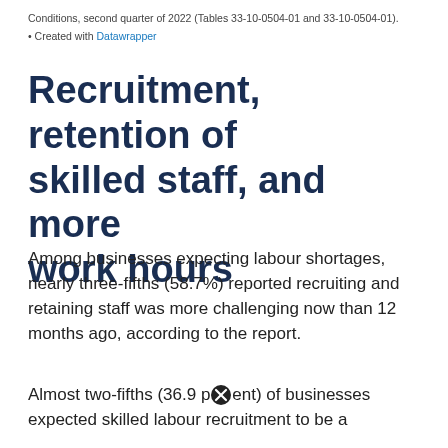Conditions, second quarter of 2022 (Tables 33-10-0504-01 and 33-10-0504-01). • Created with Datawrapper
Recruitment, retention of skilled staff, and more work hours
Among businesses expecting labour shortages, nearly three-fifths (58.7%) reported recruiting and retaining staff was more challenging now than 12 months ago, according to the report.
Almost two-fifths (36.9 percent) of businesses expected skilled labour recruitment to be a